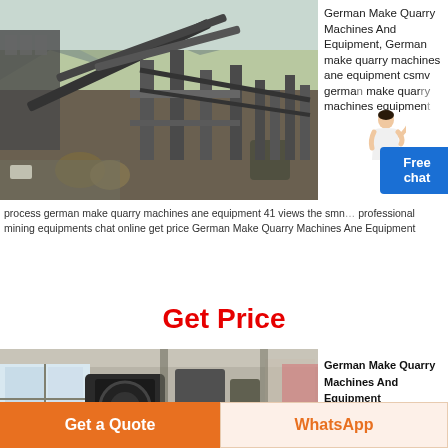[Figure (photo): Aerial/elevated view of a large quarry crushing and conveyor machinery facility with industrial conveyors, steel structures, and rocky mountainous background.]
German Make Quarry Machines And Equipment, German make quarry machines ane equipment csmv german make quarry machines equipment
[Figure (illustration): Customer service representative - woman in business attire]
Free chat
process german make quarry machines ane equipment 41 views the smn professional mining equipments chat online get price German Make Quarry Machines Ane Equipment
Get Price
[Figure (photo): Interior of industrial workshop/factory with heavy machinery and equipment including what appears to be a large crusher or mill, with windows letting in light on the left side.]
German Make Quarry Machines And Equipment
Get a Quote
WhatsApp